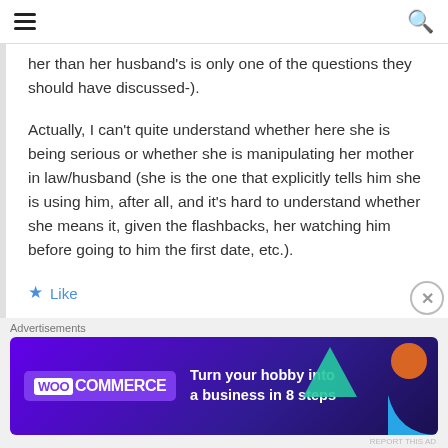☰  🔍
her than her husband's is only one of the questions they should have discussed-).
Actually, I can't quite understand whether here she is being serious or whether she is manipulating her mother in law/husband (she is the one that explicitly tells him she is using him, after all, and it's hard to understand whether she means it, given the flashbacks, her watching him before going to him the first date, etc.).
★ Like
Advertisements
[Figure (screenshot): WooCommerce advertisement banner: 'Turn your hobby into a business in 8 steps' on dark purple background with colorful geometric shapes]